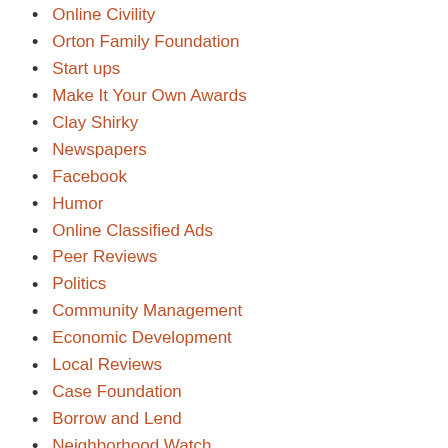Online Civility
Orton Family Foundation
Start ups
Make It Your Own Awards
Clay Shirky
Newspapers
Facebook
Humor
Online Classified Ads
Peer Reviews
Politics
Community Management
Economic Development
Local Reviews
Case Foundation
Borrow and Lend
Neighborhood Watch
Good Government
Small Business Advertising